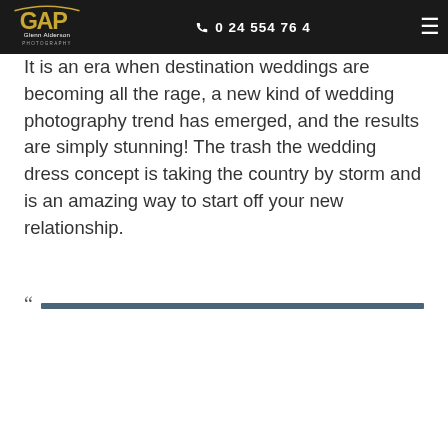Glenn Alderson Photography | 0 24 554 76 4
It is an era when destination weddings are becoming all the rage, a new kind of wedding photography trend has emerged, and the results are simply stunning! The trash the wedding dress concept is taking the country by storm and is an amazing way to start off your new relationship.